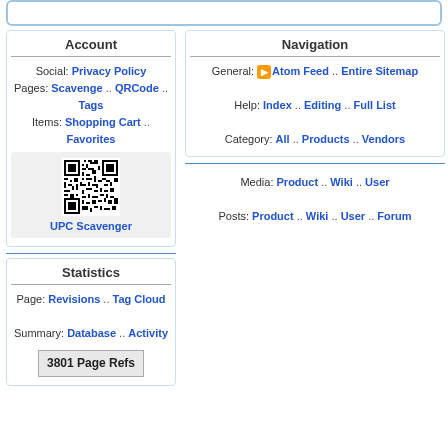Account
Social: Privacy Policy
Pages: Scavenge .. QRCode .. Tags
Items: Shopping Cart .. Favorites
[Figure (other): QR code image labeled UPC Scavenger]
Statistics
Page: Revisions .. Tag Cloud
Summary: Database .. Activity
3801 Page Refs
Navigation
General: [Atom Feed icon] Atom Feed .. Entire Sitemap
Help: Index .. Editing .. Full List
Category: All .. Products .. Vendors
Media: Product .. Wiki .. User
Posts: Product .. Wiki .. User .. Forum